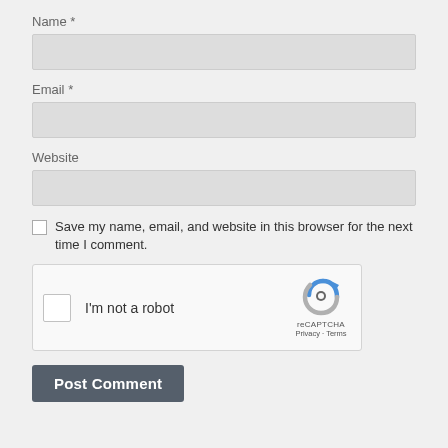Name *
[Figure (screenshot): Empty text input field for Name]
Email *
[Figure (screenshot): Empty text input field for Email]
Website
[Figure (screenshot): Empty text input field for Website]
Save my name, email, and website in this browser for the next time I comment.
[Figure (screenshot): reCAPTCHA widget with checkbox labeled I'm not a robot]
[Figure (screenshot): Post Comment button]